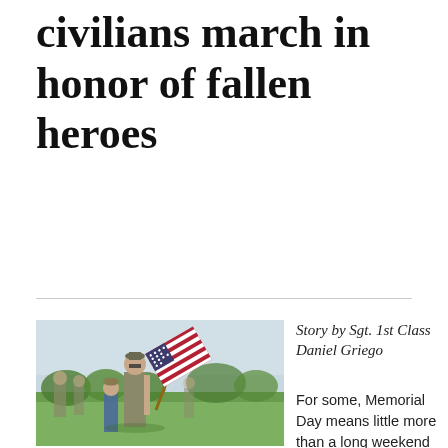civilians march in honor of fallen heroes
[Figure (photo): Soldiers and civilians marching on a grassy field, with a man in military uniform carrying an American flag. Other participants including a child follow behind. Trees and outdoor facilities visible in the background.]
Story by Sgt. 1st Class Daniel Griego
For some, Memorial Day means little more than a long weekend of